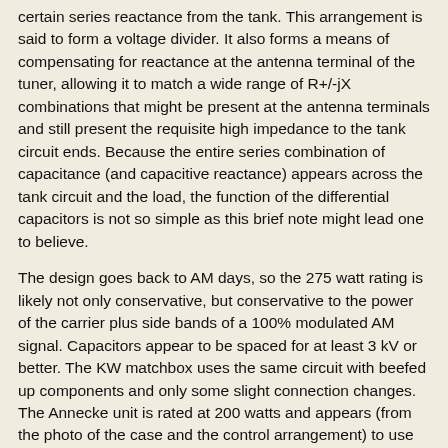certain series reactance from the tank. This arrangement is said to form a voltage divider. It also forms a means of compensating for reactance at the antenna terminal of the tuner, allowing it to match a wide range of R+/-jX combinations that might be present at the antenna terminals and still present the requisite high impedance to the tank circuit ends. Because the entire series combination of capacitance (and capacitive reactance) appears across the tank circuit and the load, the function of the differential capacitors is not so simple as this brief note might lead one to believe.
The design goes back to AM days, so the 275 watt rating is likely not only conservative, but conservative to the power of the carrier plus side bands of a 100% modulated AM signal. Capacitors appear to be spaced for at least 3 kV or better. The KW matchbox uses the same circuit with beefed up components and only some slight connection changes. The Annecke unit is rated at 200 watts and appears (from the photo of the case and the control arrangement) to use slightly lighter components than the Johnson, even though the 200 watt rating is also conservative.
Perhaps the only thing I would do to improve the design is not mechanically feasible: to have a rotary coil with contra-